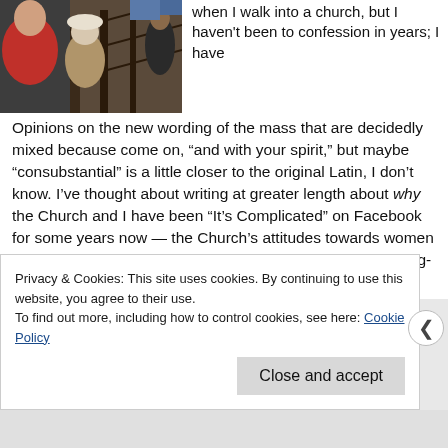[Figure (photo): Photo of people inside what appears to be a church or crowded interior space, partially visible on the left side of the page.]
when I walk into a church, but I haven't been to confession in years; I have Opinions on the new wording of the mass that are decidedly mixed because come on, “and with your spirit,” but maybe “consubstantial” is a little closer to the original Latin, I don’t know. I’ve thought about writing at greater length about why the Church and I have been “It’s Complicated” on Facebook for some years now — the Church’s attitudes towards women and the LGBTQ community, my skepticism towards any long-entrenched organization, the Church’s scandals
Privacy & Cookies: This site uses cookies. By continuing to use this website, you agree to their use.
To find out more, including how to control cookies, see here: Cookie Policy
Close and accept